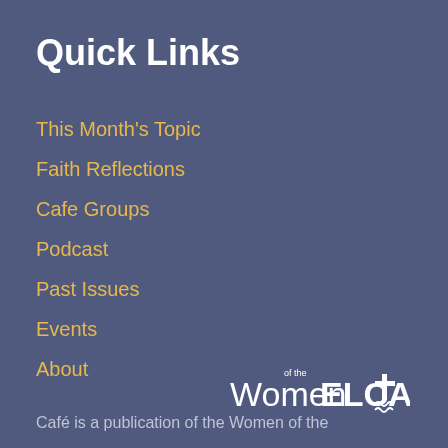Quick Links
This Month's Topic
Faith Reflections
Cafe Groups
Podcast
Past Issues
Events
About
[Figure (logo): Women of the ELCA logo with cross symbol]
Café is a publication of the Women of the